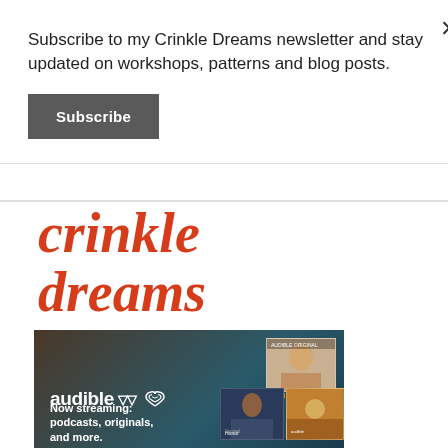Subscribe to my Crinkle Dreams newsletter and stay updated on workshops, patterns and blog posts.
Subscribe
[Figure (logo): Crinkle Dreams logo in red italic serif font, two lines: 'crinkle' on top, 'dreams' on bottom]
[Figure (photo): Audible advertisement banner with dark background showing text 'Now streaming: podcasts, originals, and more' with audible logo and thumbnail images of content]